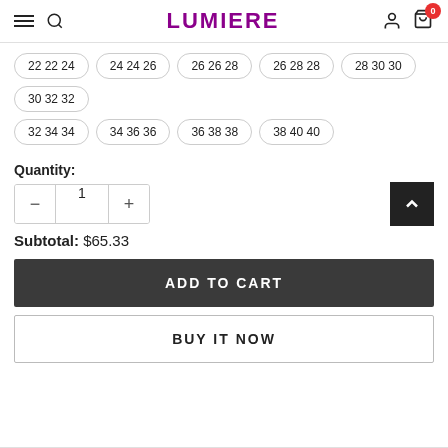LUMIERE
22 22 24
24 24 26
26 26 28
26 28 28
28 30 30
30 32 32
32 34 34
34 36 36
36 38 38
38 40 40
Quantity:
1
Subtotal:  $65.33
ADD TO CART
BUY IT NOW